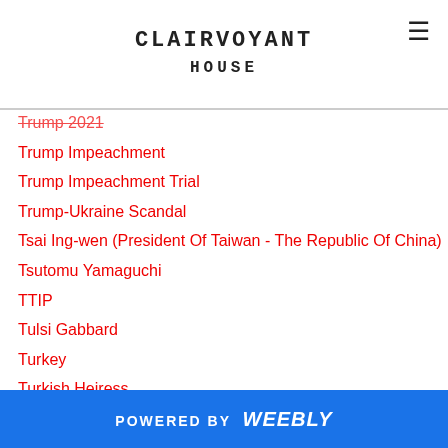CLAIRVOYANT HOUSE
Trump 2021
Trump Impeachment
Trump Impeachment Trial
Trump-Ukraine Scandal
Tsai Ing-wen (President Of Taiwan - The Republic Of China)
Tsutomu Yamaguchi
TTIP
Tulsi Gabbard
Turkey
Turkish Heiress
Turkish Nationalist Movement Party
Turkish Stream
Turkish Stream Gas Pipeline
TurkStream
POWERED BY weebly